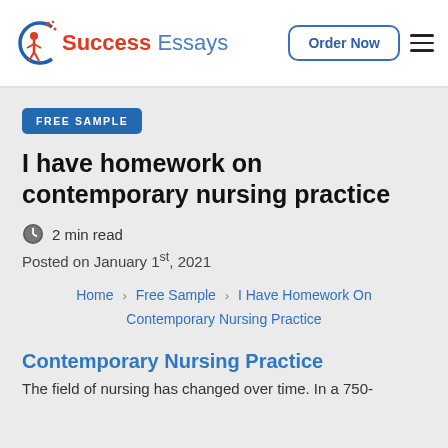[Figure (logo): Success Essays logo with a stylized figure icon in red/orange and the text 'Success Essays' in red and blue]
Order Now
FREE SAMPLE
I have homework on contemporary nursing practice
2 min read
Posted on January 1st, 2021
Home > Free Sample > I Have Homework On Contemporary Nursing Practice
Contemporary Nursing Practice
The field of nursing has changed over time. In a 750-